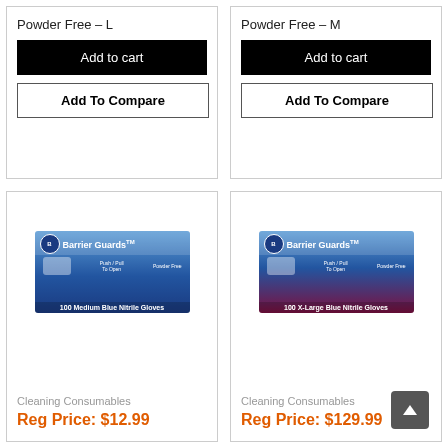Powder Free – L
Add to cart
Add To Compare
Powder Free – M
Add to cart
Add To Compare
[Figure (photo): Box of Barrier Guards 100 Medium Blue Nitrile Gloves, Powder Free]
Cleaning Consumables
Reg Price: $12.99
[Figure (photo): Box of Barrier Guards 100 X-Large Blue Nitrile Gloves, Powder Free]
Cleaning Consumables
Reg Price: $129.99